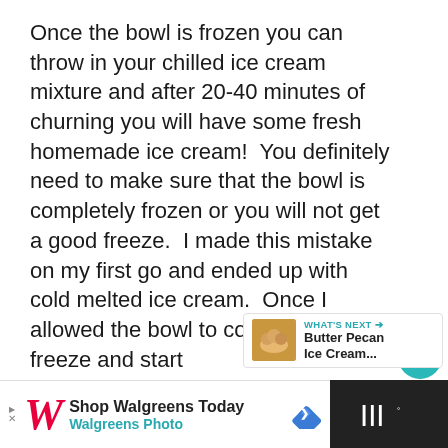Once the bowl is frozen you can throw in your chilled ice cream mixture and after 20-40 minutes of churning you will have some fresh homemade ice cream!  You definitely need to make sure that the bowl is completely frozen or you will not get a good freeze.  I made this mistake on my first go and ended up with cold melted ice cream.  Once I allowed the bowl to completely freeze and started over again the ice cream was perfect.
[Figure (other): Teal circular heart/like button icon]
2
[Figure (other): Share button (circular with share icon)]
[Figure (other): What's Next card showing Butter Pecan Ice Cream with thumbnail image]
[Figure (other): Walgreens advertisement banner — Shop Walgreens Today / Walgreens Photo]